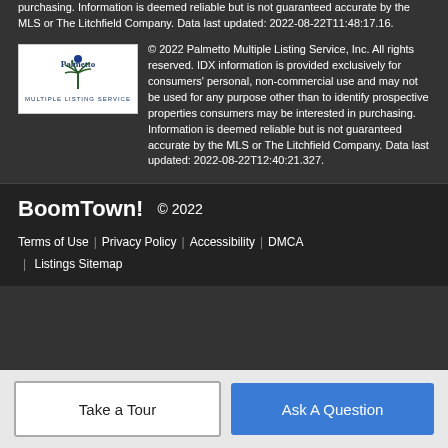purchasing. Information is deemed reliable but is not guaranteed accurate by the MLS or The Litchfield Company. Data last updated: 2022-08-22T11:48:17.16.
[Figure (logo): Palmetto Multiple Listing Service logo]
© 2022 Palmetto Multiple Listing Service, Inc. All rights reserved. IDX information is provided exclusively for consumers' personal, non-commercial use and may not be used for any purpose other than to identify prospective properties consumers may be interested in purchasing. Information is deemed reliable but is not guaranteed accurate by the MLS or The Litchfield Company. Data last updated: 2022-08-22T12:40:21.327.
BoomTown! © 2022
Terms of Use | Privacy Policy | Accessibility | DMCA | Listings Sitemap
Take a Tour
Ask A Question